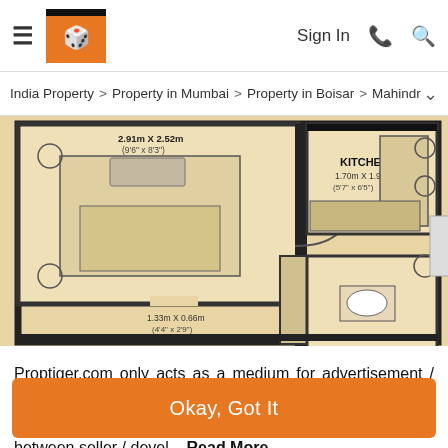≡  [PropTiger Logo]  Sign In  📞  🔍
India Property > Property in Mumbai > Property in Boisar > Mahindr… ˅
[Figure (engineering-diagram): Apartment floor plan showing bedroom, kitchen, bathroom and other rooms with dimensions. Bedroom: 2.91m x 2.52m (9'6" x 8'3"). Kitchen: 1.70m x 1.95m (5'7" x 6'5"). Other room dimensions also labeled.]
Proptiger.com only acts as a medium for advertisement / information content. We do not in any way facilitate and cannot be deemed to be facilitating any transaction between seller / devel… Read More
Okay, Got It